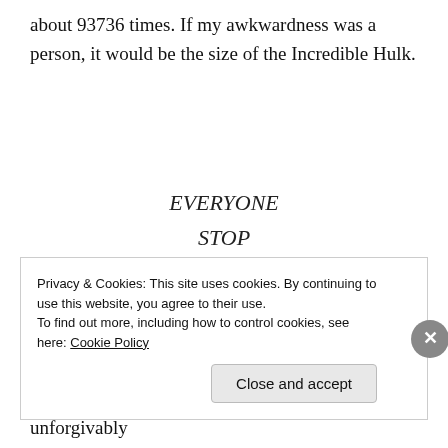about 93736 times. If my awkwardness was a person, it would be the size of the Incredible Hulk.
EVERYONE
STOP
STARING
AT
MEEEEEEE
I could go on. And I have gone on for an unforgivably
Privacy & Cookies: This site uses cookies. By continuing to use this website, you agree to their use.
To find out more, including how to control cookies, see here: Cookie Policy
Close and accept